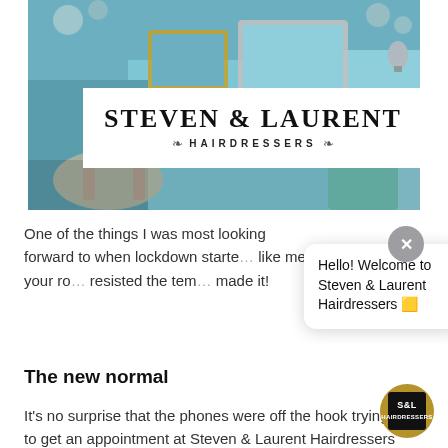[Figure (photo): Salon interior photograph showing decorative gold and ornate frames, teal/mint side table, clear acrylic chair, blue panelled walls, and floral wallpaper. 'Steven & Laurent Hairdressers' logo overlaid in white box over the centre of the photo.]
One of the things I was most looking forward to when lockdown starte[d] like me, your ro[o]... resisted the tem[ptation]... made it!
The new normal
It's no surprise that the phones were off the hook trying to get an appointment at Steven & Laurent Hairdressers or...